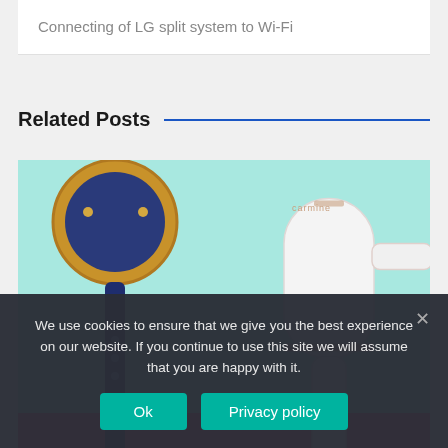Connecting of LG split system to Wi-Fi
Related Posts
[Figure (photo): Two hair dryers side by side: a Dyson hair dryer (navy/gold) on the left and a white T3/Carmine hair dryer on the right, against a teal and pink background]
ARTICLE
We use cookies to ensure that we give you the best experience on our website. If you continue to use this site we will assume that you are happy with it.
Ok
Privacy policy